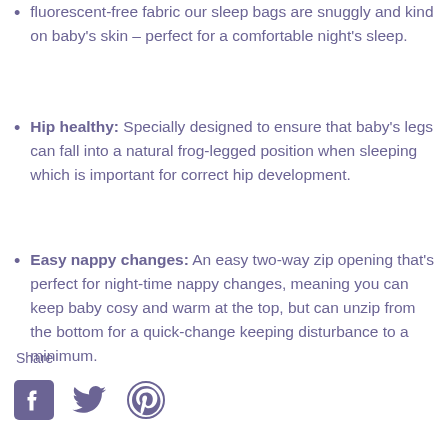fluorescent-free fabric our sleep bags are snuggly and kind on baby's skin – perfect for a comfortable night's sleep.
Hip healthy: Specially designed to ensure that baby's legs can fall into a natural frog-legged position when sleeping which is important for correct hip development.
Easy nappy changes: An easy two-way zip opening that's perfect for night-time nappy changes, meaning you can keep baby cosy and warm at the top, but can unzip from the bottom for a quick-change keeping disturbance to a minimum.
Share
[Figure (illustration): Social share icons: Facebook, Twitter, Pinterest]